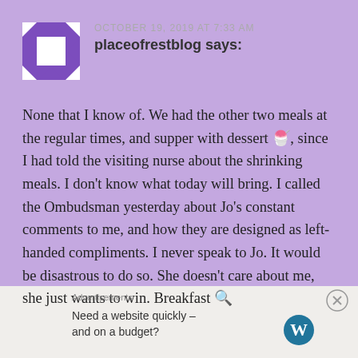OCTOBER 19, 2019 AT 7:33 AM
placeofrestblog says:
None that I know of. We had the other two meals at the regular times, and supper with dessert 🍧, since I had told the visiting nurse about the shrinking meals. I don't know what today will bring. I called the Ombudsman yesterday about Jo's constant comments to me, and how they are designed as left-handed compliments. I never speak to Jo. It would be disastrous to do so. She doesn't care about me, she just wants to win. Breakfast 🔍
Advertisements
Need a website quickly – and on a budget?